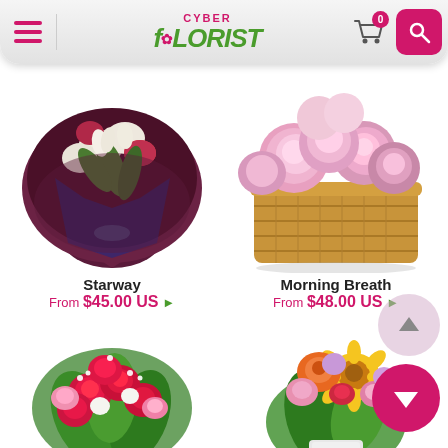[Figure (screenshot): Cyber Florist mobile website header with hamburger menu, logo, cart icon with 0 badge, and pink search button]
[Figure (photo): Starway flower bouquet - mixed flowers including lilies wrapped in dark purple paper]
[Figure (photo): Morning Breath flower arrangement - pink roses and lisianthus in a wicker basket]
Starway
From $45.00 US
Morning Breath
From $48.00 US
[Figure (photo): Red roses and pink carnations bouquet with ferns]
[Figure (photo): Colorful mixed bouquet with sunflowers, gerberas, alstroemeria and greenery]